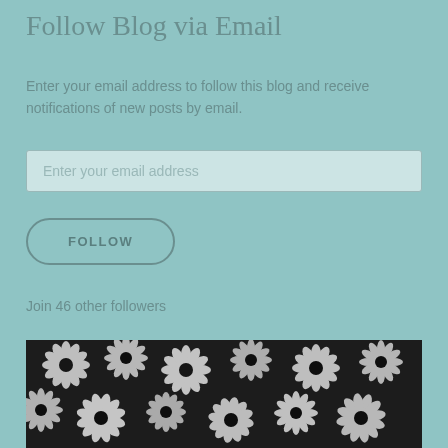Follow Blog via Email
Enter your email address to follow this blog and receive notifications of new posts by email.
Enter your email address
FOLLOW
Join 46 other followers
[Figure (photo): Black and white photograph of many daisy flowers filling the entire frame]